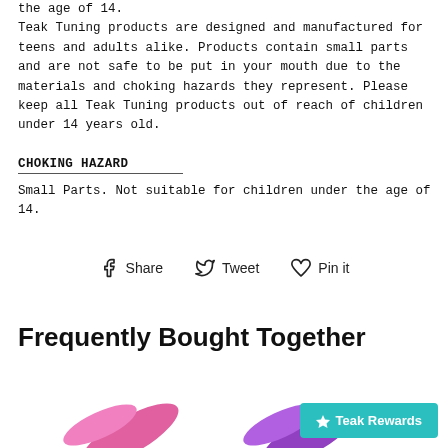the age of 14.
Teak Tuning products are designed and manufactured for teens and adults alike. Products contain small parts and are not safe to be put in your mouth due to the materials and choking hazards they represent. Please keep all Teak Tuning products out of reach of children under 14 years old.
CHOKING HAZARD
Small Parts. Not suitable for children under the age of 14.
Share  Tweet  Pin it
Frequently Bought Together
[Figure (illustration): Pink and purple skateboard fins/wheels at the bottom of the page]
Teak Rewards